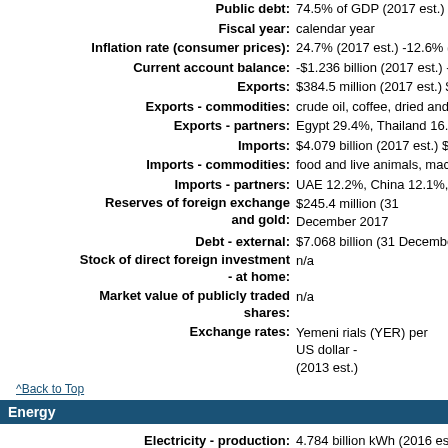Public debt: 74.5% of GDP (2017 est.) 68.1% o...
Fiscal year: calendar year
Inflation rate (consumer prices): 24.7% (2017 est.) -12.6% (2016 es...
Current account balance: -$1.236 billion (2017 est.) -$1.868 b...
Exports: $384.5 million (2017 est.) $940 mill...
Exports - commodities: crude oil, coffee, dried and salted fi...
Exports - partners: Egypt 29.4%, Thailand 16.7%, Bela...
Imports: $4.079 billion (2017 est.) $3.117 bil...
Imports - commodities: food and live animals, machinery a...
Imports - partners: UAE 12.2%, China 12.1%, Turkey 8...
Reserves of foreign exchange and gold: $245.4 million (31 December 2017...
Debt - external: $7.068 billion (31 December 2017 e...
Stock of direct foreign investment - at home: n/a
Market value of publicly traded shares: n/a
Exchange rates: Yemeni rials (YER) per US dollar - ... (2013 est.)
^Back to Top
Energy
Electricity - production: 4.784 billion kWh (2016 est.)
Electricity - consumption: 3.681 billion kWh (2016 est.)
Electricity - exports: 0 kWh (2016 est.)